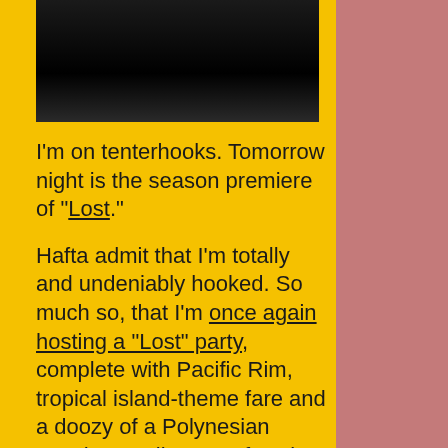[Figure (photo): Dark/black photo, partially visible, appearing to show a white object against dark background]
I'm on tenterhooks. Tomorrow night is the season premiere of "Lost."
Hafta admit that I'm totally and undeniably hooked. So much so, that I'm once again hosting a "Lost" party, complete with Pacific Rim, tropical island-theme fare and a doozy of a Polynesian punch compliments of Jack the Horse's gifted bartender Maxwell Britten.